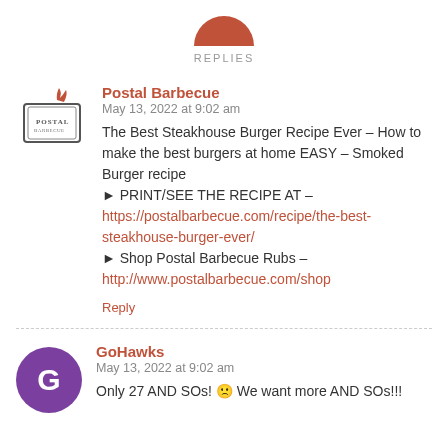[Figure (illustration): Orange/red semicircle icon representing replies count button at top center]
REPLIES
[Figure (logo): Postal Barbecue logo - sketch style box with flame and text POSTAL]
Postal Barbecue
May 13, 2022 at 9:02 am
The Best Steakhouse Burger Recipe Ever – How to make the best burgers at home EASY – Smoked Burger recipe
► PRINT/SEE THE RECIPE AT – https://postalbarbecue.com/recipe/the-best-steakhouse-burger-ever/
► Shop Postal Barbecue Rubs – http://www.postalbarbecue.com/shop
Reply
[Figure (illustration): Purple circle avatar with letter G for GoHawks user]
GoHawks
May 13, 2022 at 9:02 am
Only 27 AND SOs! 🙁 We want more AND SOs!!!